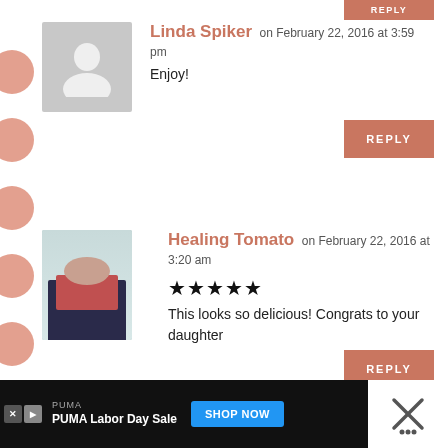Linda Spiker on February 22, 2016 at 3:59 pm
Enjoy!
Healing Tomato on February 22, 2016 at 3:20 am
★★★★★
This looks so delicious! Congrats to your daughter
[Figure (other): Advertisement banner: PUMA Labor Day Sale with Shop Now button]